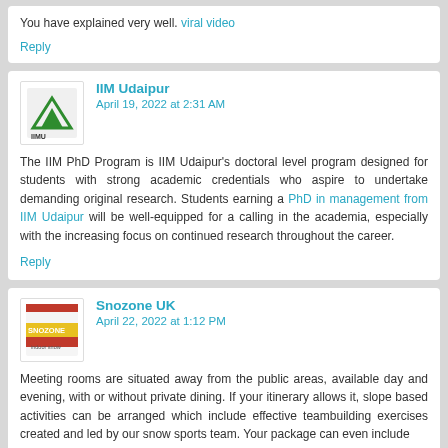You have explained very well. viral video
Reply
IIM Udaipur
April 19, 2022 at 2:31 AM
The IIM PhD Program is IIM Udaipur's doctoral level program designed for students with strong academic credentials who aspire to undertake demanding original research. Students earning a PhD in management from IIM Udaipur will be well-equipped for a calling in the academia, especially with the increasing focus on continued research throughout the career.
Reply
Snozone UK
April 22, 2022 at 1:12 PM
Meeting rooms are situated away from the public areas, available day and evening, with or without private dining. If your itinerary allows it, slope based activities can be arranged which include effective teambuilding exercises created and led by our snow sports team. Your package can even include